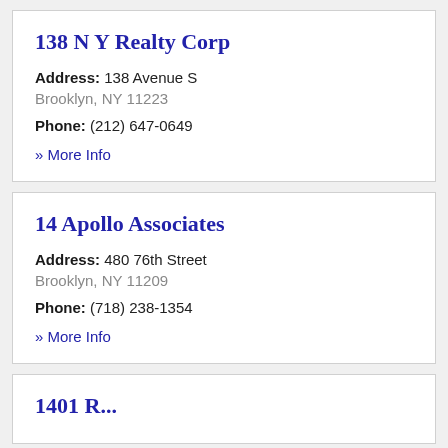138 N Y Realty Corp
Address: 138 Avenue S
Brooklyn, NY 11223
Phone: (212) 647-0649
» More Info
14 Apollo Associates
Address: 480 76th Street
Brooklyn, NY 11209
Phone: (718) 238-1354
» More Info
1401 R...